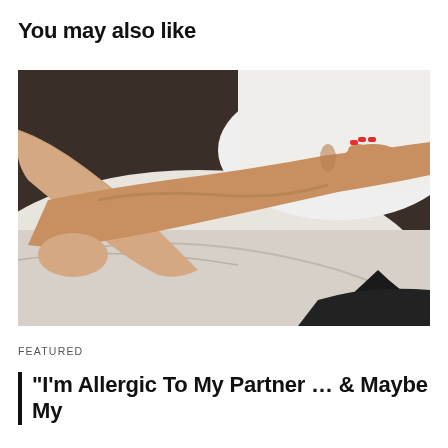You may also like
[Figure (photo): Close-up photo of two people lying in bed embracing, arms intertwined over white sheets and pillow. One person has red nail polish.]
FEATURED
"I'm Allergic To My Partner … & Maybe My